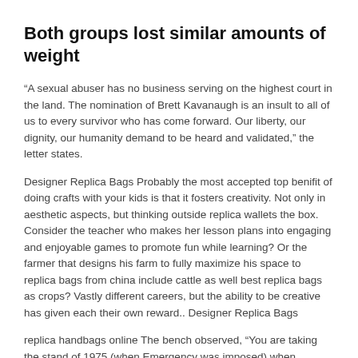Both groups lost similar amounts of weight
“A sexual abuser has no business serving on the highest court in the land. The nomination of Brett Kavanaugh is an insult to all of us to every survivor who has come forward. Our liberty, our dignity, our humanity demand to be heard and validated,” the letter states.
Designer Replica Bags Probably the most accepted top benifit of doing crafts with your kids is that it fosters creativity. Not only in aesthetic aspects, but thinking outside replica wallets the box. Consider the teacher who makes her lesson plans into engaging and enjoyable games to promote fun while learning? Or the farmer that designs his farm to fully maximize his space to replica bags from china include cattle as well best replica bags as crops? Vastly different careers, but the ability to be creative has given each their own reward.. Designer Replica Bags
replica handbags online The bench observed, “You are taking the stand of 1975 (when Emergency was imposed) when people’s opinion was not sought. Why don’t you dump the garbage in front of Raj Niwas? You cannot treat people like this. The bench does not